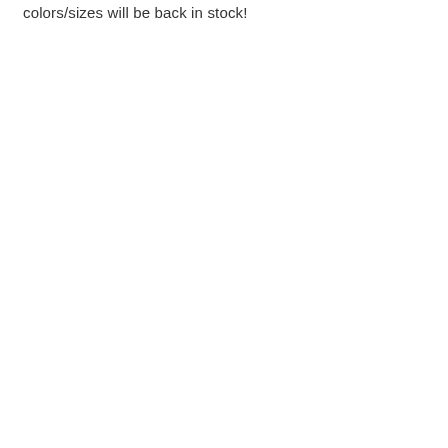colors/sizes will be back in stock!